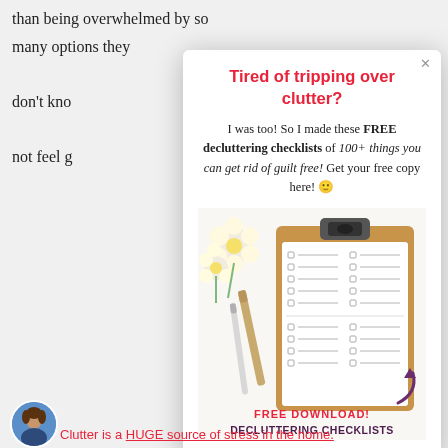than being overwhelmed by so many options they don't kno not feel g
Tired of tripping over clutter?
I was too! So I made these FREE decluttering checklists of 100+ things you can get rid of guilt free! Get your free copy here! 🙂
[Figure (photo): Photo of a clipboard with a decluttering checklist, flowers, and pencils on a white background, with text FREE DOWNLOAD! DECLUTTERING CHECKLISTS]
Clutter is a HUGE source of stress in the home.